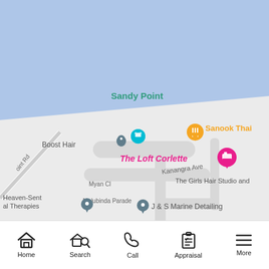[Figure (map): Google Maps screenshot showing a coastal area with Sandy Point, streets including Kanangra Ave, Myan Cl, Mulubinda Parade, Point Rd. Map markers for Boost Hair, Sanook Thai restaurant (orange), The Loft Corlette (pink hotel marker), Heaven-Sent Therapies, J & S Marine Detailing. Text labels: The Girls Hair Studio and... Water body (blue) at top, sandy beach on right side.]
Home  Search  Call  Appraisal  More